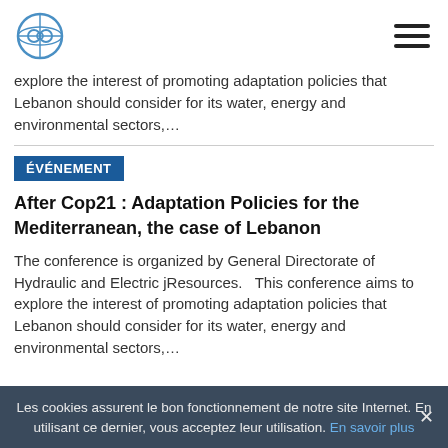[Logo and navigation header]
explore the interest of promoting adaptation policies that Lebanon should consider for its water, energy and environmental sectors,...
ÉVÉNEMENT
After Cop21 : Adaptation Policies for the Mediterranean, the case of Lebanon
The conference is organized by General Directorate of Hydraulic and Electric jResources.   This conference aims to explore the interest of promoting adaptation policies that Lebanon should consider for its water, energy and environmental sectors,...
Les cookies assurent le bon fonctionnement de notre site Internet. En utilisant ce dernier, vous acceptez leur utilisation. En savoir plus